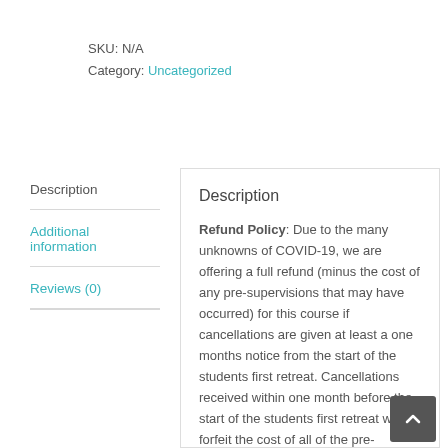SKU: N/A
Category: Uncategorized
Description
Additional information
Reviews (0)
Description
Refund Policy: Due to the many unknowns of COVID-19, we are offering a full refund (minus the cost of any pre-supervisions that may have occurred) for this course if cancellations are given at least a one months notice from the start of the students first retreat. Cancellations received within one month before the start of the students first retreat will forfeit the cost of all of the pre-